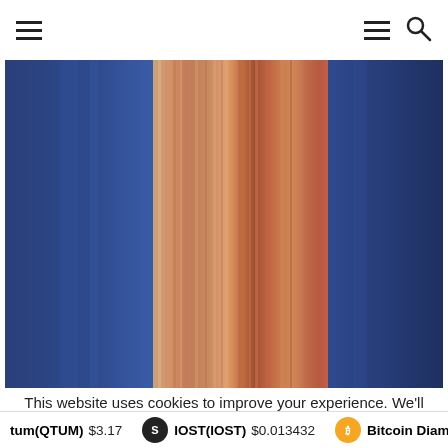Navigation header with hamburger menu and search icon
[Figure (photo): Abstract vertical color stripes — blue on left and right, warm tones (tan, orange, brown, red-orange) in the center, blurred/streaked effect]
This website uses cookies to improve your experience. We'll assume you're ok with this, but you can opt-out if you w
tum(QTUM) $3.17   IOST(IOST) $0.013432   Bitcoin Diam